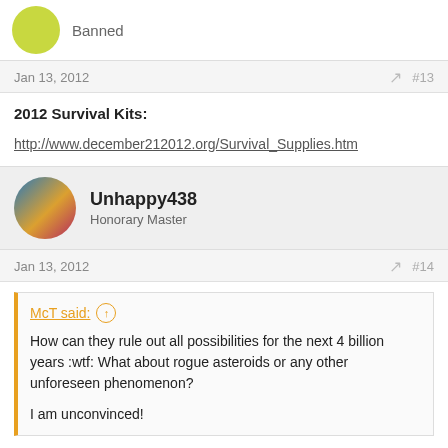Banned
Jan 13, 2012  #13
2012 Survival Kits:

http://www.december212012.org/Survival_Supplies.htm
Unhappy438
Honorary Master
Jan 13, 2012  #14
McT said:
How can they rule out all possibilities for the next 4 billion years :wtf: What about rogue asteroids or any other unforeseen phenomenon?

I am unconvinced!
Please re read, you are not understanding the answer properly,